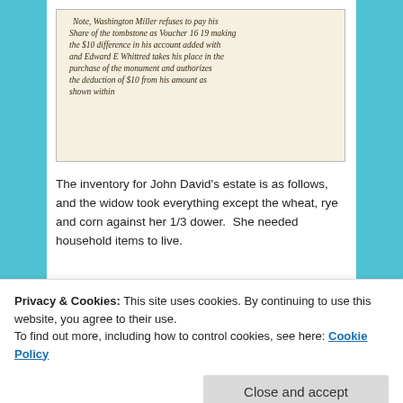[Figure (photo): Handwritten note on aged paper: 'Note, Washington Miller refuses to pay his Share of the tombstone as Voucher 16 19 making the $10 difference in his account added with and Edward E Whittred takes his place in the purchase of the monument and authorizes the deduction of $10 from his amount as shown within']
The inventory for John David's estate is as follows, and the widow took everything except the wheat, rye and corn against her 1/3 dower.  She needed household items to live.
| Number | Items | Appraised |
| --- | --- | --- |
Privacy & Cookies: This site uses cookies. By continuing to use this website, you agree to their use.
To find out more, including how to control cookies, see here: Cookie Policy